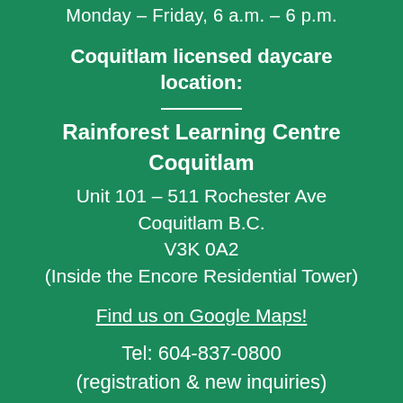Monday – Friday, 6 a.m. – 6 p.m.
Coquitlam licensed daycare location:
Rainforest Learning Centre Coquitlam
Unit 101 – 511 Rochester Ave
Coquitlam B.C.
V3K 0A2
(Inside the Encore Residential Tower)
Find us on Google Maps!
Tel: 604-837-0800
(registration & new inquiries)